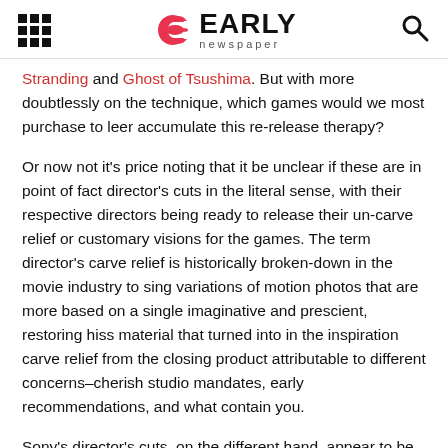EARLY newspaper
Stranding and Ghost of Tsushima. But with more doubtlessly on the technique, which games would we most purchase to leer accumulate this re-release therapy?
Or now not it's price noting that it be unclear if these are in point of fact director's cuts in the literal sense, with their respective directors being ready to release their un-carve relief or customary visions for the games. The term director's carve relief is historically broken-down in the movie industry to sing variations of motion photos that are more based on a single imaginative and prescient, restoring hiss material that turned into in the inspiration carve relief from the closing product attributable to different concerns–cherish studio mandates, early recommendations, and what contain you.
Sony's director's cuts, on the different hand, appear to be more cherish amped-up variations of the customary games, with new aspects particular to the PS5 and new hiss material. But they do now